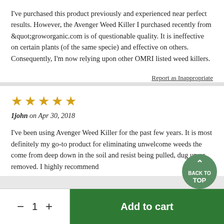I've purchased this product previously and experienced near perfect results. However, the Avenger Weed Killer I purchased recently from &quot;groworganic.com is of questionable quality. It is ineffective on certain plants (of the same specie) and effective on others. Consequently, I'm now relying upon other OMRI listed weed killers.
Report as Inappropriate
[Figure (other): Five gold star rating icons]
1john on Apr 30, 2018
I've been using Avenger Weed Killer for the past few years. It is most definitely my go-to product for eliminating unwelcome weeds the come from deep down in the soil and resist being pulled, dug up or removed. I highly recommend